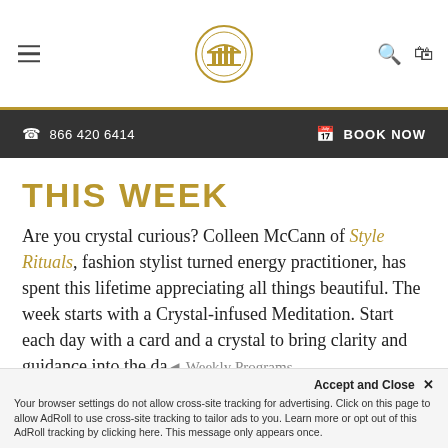[Figure (logo): Website header with hamburger menu icon on left, circular logo icon in center, search and bag icons on right, with gold bottom border]
866 420 6414   BOOK NOW
THIS WEEK
Are you crystal curious? Colleen McCann of Style Rituals, fashion stylist turned energy practitioner, has spent this lifetime appreciating all things beautiful. The week starts with a Crystal-infused Meditation. Start each day with a card and a crystal to bring clarity and guidance into the day...
Accept and Close ×
Your browser settings do not allow cross-site tracking for advertising. Click on this page to allow AdRoll to use cross-site tracking to tailor ads to you. Learn more or opt out of this AdRoll tracking by clicking here. This message only appears once.